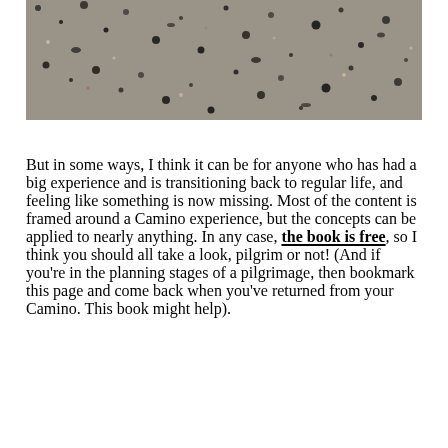[Figure (photo): Close-up photograph of granite or stone texture with dark speckled pattern on grey-brown background]
But in some ways, I think it can be for anyone who has had a big experience and is transitioning back to regular life, and feeling like something is now missing. Most of the content is framed around a Camino experience, but the concepts can be applied to nearly anything. In any case, the book is free, so I think you should all take a look, pilgrim or not! (And if you're in the planning stages of a pilgrimage, then bookmark this page and come back when you've returned from your Camino. This book might help).